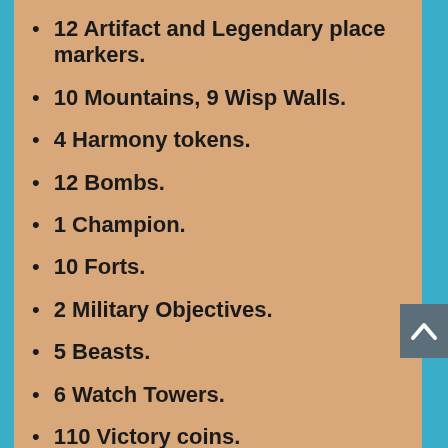12 Artifact and Legendary place markers.
10 Mountains, 9 Wisp Walls.
4 Harmony tokens.
12 Bombs.
1 Champion.
10 Forts.
2 Military Objectives.
5 Beasts.
6 Watch Towers.
110 Victory coins.
1 Custom Reinforcement Die.
1 Game turn track.